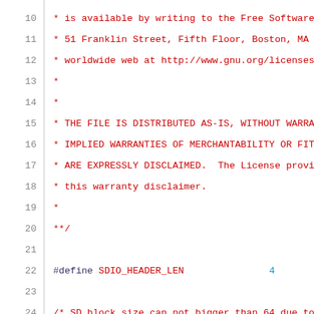10   * is available by writing to the Free Software
11   * 51 Franklin Street, Fifth Floor, Boston, MA
12   * worldwide web at http://www.gnu.org/licenses
13   *
14   *
15   * THE FILE IS DISTRIBUTED AS-IS, WITHOUT WARRA
16   * IMPLIED WARRANTIES OF MERCHANTABILITY OR FIT
17   * ARE EXPRESSLY DISCLAIMED.  The License provi
18   * this warranty disclaimer.
19   *
20   **/
21
22   #define SDIO_HEADER_LEN       4
23
24   /* SD block size can not bigger than 64 due to
25   /* define SD block size for data Tx/Rx */
26   #define SDIO_BLOCK_SIZE       64
27
28   /* Number of blocks for firmware transfer */
29   #define FIRMWARE_TRANSFER_NBLOCK   2
30
31   /* This is for firmware specific length */